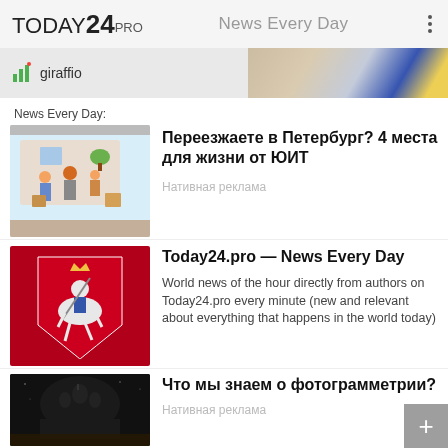TODAY24 PRO — News Every Day
[Figure (screenshot): Ad banner with giraffio logo and partial photo on the right]
News Every Day:
[Figure (illustration): Moving family illustration]
Переезжаете в Петербург? 4 места для жизни от ЮИТ
Нативная реклама
[Figure (illustration): Moscow coat of arms on red background]
Today24.pro — News Every Day
World news of the hour directly from authors on Today24.pro every minute (new and relevant about everything that happens in the world today)
[Figure (photo): Dark photo of church/cathedral silhouette]
Что мы знаем о фотограмметрии?
Нативная реклама